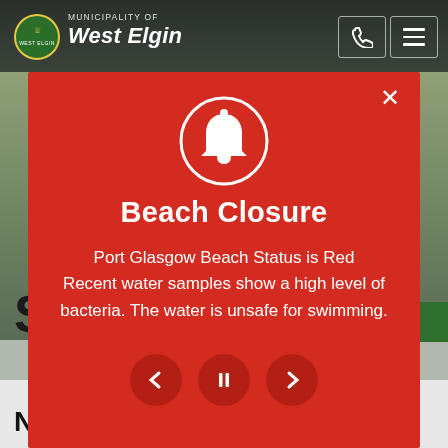[Figure (screenshot): Municipality of West Elgin website header with logo, navigation icons, and background photo of municipal building with greenery]
Beach Closure
Port Glasgow Beach Status is Red
Recent water samples show a high level of bacteria. The water is unsafe for swimming.
New seasonal rentals